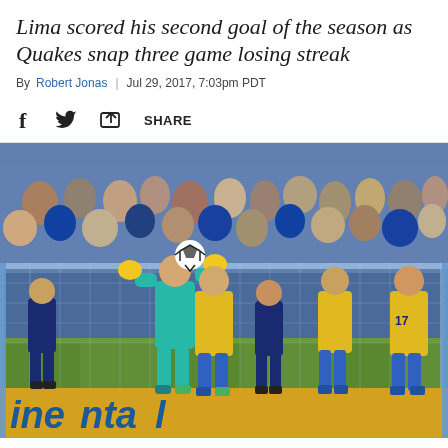Lima scored his second goal of the season as Quakes snap three game losing streak
By Robert Jonas | Jul 29, 2017, 7:03pm PDT
[Figure (other): Social share bar with Facebook, Twitter and share icons]
[Figure (photo): Soccer match action photo showing players near goal, goalkeeper in teal kit punching ball, players in blue (San Jose Earthquakes) and yellow/blue (Colorado Rapids) kits, crowd in background stands, Continental advertising board at bottom]